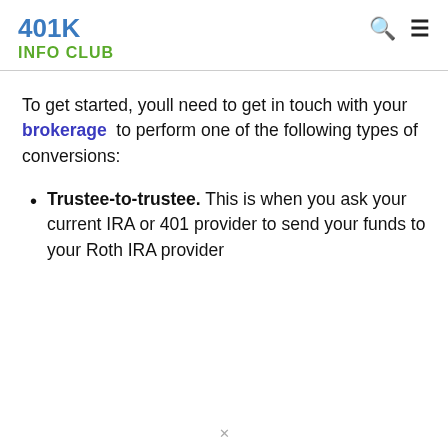401K INFO CLUB
To get started, youll need to get in touch with your brokerage to perform one of the following types of conversions:
Trustee-to-trustee. This is when you ask your current IRA or 401 provider to send your funds to your Roth IRA provider